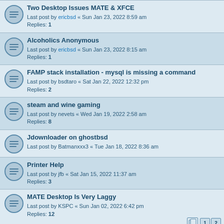Two Desktop Issues MATE & XFCE
Last post by ericbsd « Sun Jan 23, 2022 8:59 am
Replies: 1
Alcoholics Anonymous
Last post by ericbsd « Sun Jan 23, 2022 8:15 am
Replies: 1
FAMP stack installation - mysql is missing a command
Last post by bsdtaro « Sat Jan 22, 2022 12:32 pm
Replies: 2
steam and wine gaming
Last post by nevets « Wed Jan 19, 2022 2:58 am
Replies: 8
Jdownloader on ghostbsd
Last post by Batmanxxx3 « Tue Jan 18, 2022 8:36 am
Printer Help
Last post by jfb « Sat Jan 15, 2022 11:37 am
Replies: 3
MATE Desktop Is Very Laggy
Last post by KSPC « Sun Jan 02, 2022 6:42 pm
Replies: 12
[SOLVED][Community XFCE] Unresponsive GUI
Last post by digifuzzy « Tue Dec 14, 2021 10:30 pm
Replies: 20
ssh network connection problem from terminal
Last post by ericbsd « Mon Dec 06, 2021 4:50 pm
Replies: 1